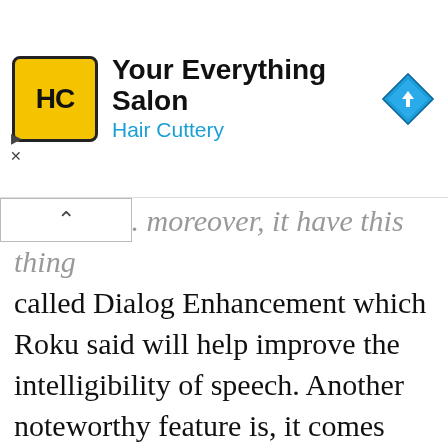[Figure (logo): Hair Cuttery advertisement banner with yellow HC logo, text 'Your Everything Salon / Hair Cuttery', and a blue navigation diamond icon]
...better ones. Moreover, it have this thing called Dialog Enhancement which Roku said will help improve the intelligibility of speech. Another noteworthy feature is, it comes with a secondary remote called Roku Touch – in
We use cookies on our website to give you the most relevant experience by remembering your preferences and repeat visits. By clicking "Accept", you consent to the use of ALL the cookies. Do not sell my personal information.